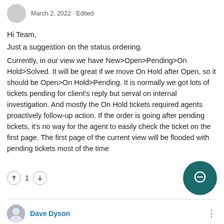March 2, 2022 · Edited
Hi Team,
Just a suggestion on the status ordering.
Currently, in our view we have New>Open>Pending>On Hold>Solved. It will be great if we move On Hold after Open, so it should be Open>On Hold>Pending. It is normally we got lots of tickets pending for client's reply but serval on internal investigation. And mostly the On Hold tickets required agents proactively follow-up action. If the order is going after pending tickets, it's no way for the agent to easily check the ticket on the first page. The first page of the current view will be flooded with pending tickets most of the time
↑ 1 ↓
Dave Dyson